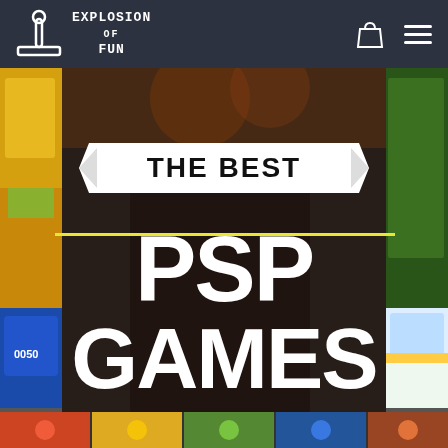Explosion of Fun — navigation header with logo, cart icon, and menu icon
[Figure (screenshot): Hero banner image showing 'THE BEST PSP GAMES' over a collage of PSP game screenshots. Central dark panel with white ribbon reading 'THE BEST' and large white block text 'PSP GAMES'. Side panels show colorful game screenshots.]